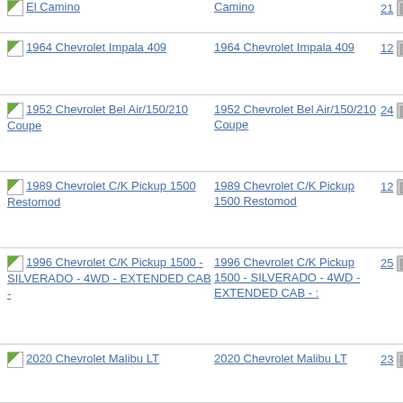El Camino | El Camino | 21 | $21,500.00
1964 Chevrolet Impala 409 | 1964 Chevrolet Impala 409 | 12 | $126,000.00
1952 Chevrolet Bel Air/150/210 Coupe | 1952 Chevrolet Bel Air/150/210 Coupe | 24 | $49,995.00
1989 Chevrolet C/K Pickup 1500 Restomod | 1989 Chevrolet C/K Pickup 1500 Restomod | 12 | $44,995.00
1996 Chevrolet C/K Pickup 1500 - SILVERADO - 4WD - EXTENDED CAB - | 1996 Chevrolet C/K Pickup 1500 - SILVERADO - 4WD - EXTENDED CAB - | 25 | $29,900.00
2020 Chevrolet Malibu LT | 2020 Chevrolet Malibu LT | 23 | $10,950.00
2017 Chevrolet Suburban | 2017 Chevrolet Suburban | 24 | $29,000.00